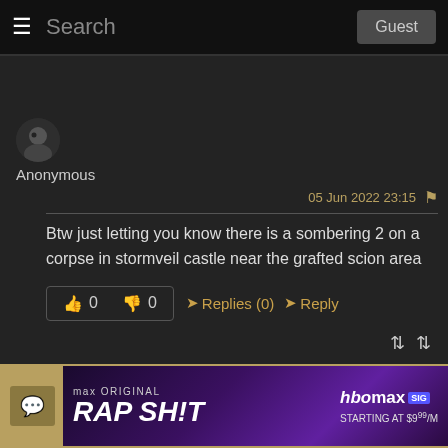Search | Guest
[Figure (other): User avatar - anonymous user profile picture, circular, dark themed]
Anonymous
05 Jun 2022 23:15
Btw just letting you know there is a sombering 2 on a corpse in stormveil castle near the grafted scion area
👍 0   👎 0   ➤Replies (0)   ➤Reply
[Figure (screenshot): HBO Max advertisement banner for RAP SH!T, starting at $9/month]